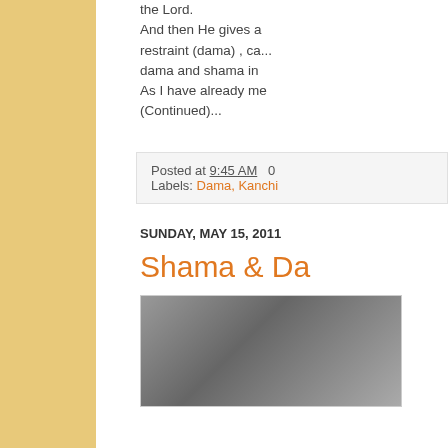the Lord.
And then He gives a restraint (dama) , ca... dama and shama in
As I have already me
(Continued)...
Posted at 9:45 AM   0 Labels: Dama, Kanchi
SUNDAY, MAY 15, 2011
Shama & Da
[Figure (photo): A black and white photograph of people, partially visible, cropped at right edge.]